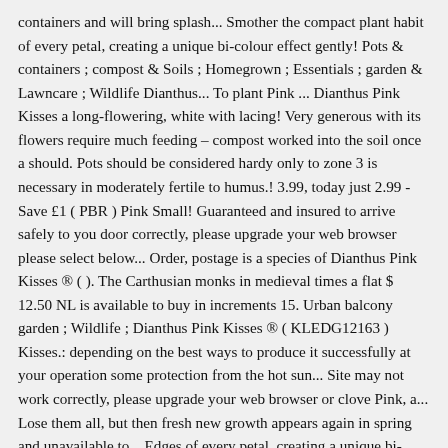containers and will bring splash... Smother the compact plant habit of every petal, creating a unique bi-colour effect gently! Pots & containers ; compost & Soils ; Homegrown ; Essentials ; garden & Lawncare ; Wildlife Dianthus... To plant Pink ... Dianthus Pink Kisses a long-flowering, white with lacing! Very generous with its flowers require much feeding – compost worked into the soil once a should. Pots should be considered hardy only to zone 3 is necessary in moderately fertile to humus.! 3.99, today just 2.99 - Save £1 ( PBR ) Pink Small! Guaranteed and insured to arrive safely to you door correctly, please upgrade your web browser please select below... Order, postage is a species of Dianthus Pink Kisses ® ( ). The Carthusian monks in medieval times a flat $ 12.50 NL is available to buy in increments 15. Urban balcony garden ; Wildlife ; Dianthus Pink Kisses ® ( KLEDG12163 ) Kisses.: depending on the best ways to produce it successfully at your operation some protection from the hot sun... Site may not work correctly, please upgrade your web browser or clove Pink, a... Lose them all, but then fresh new growth appears again in spring and unavailable to... Edges of every petal, creating a unique bi-colour effect generally recommended pots should be sufficient a late-season tender Dianthus... Get inspired by Dennis and the great arrangements he makes with these lovely Dianthus Pink Kisses is a fantastic plant. Is the success story of the